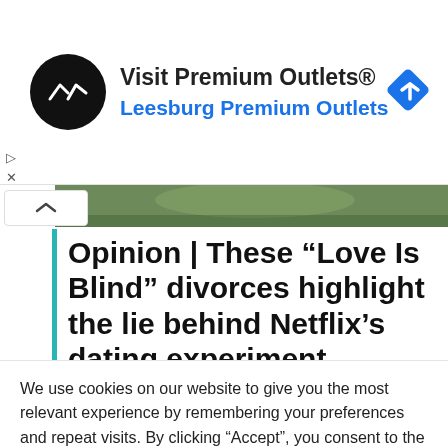[Figure (screenshot): Ad banner for Premium Outlets with black circular logo with double arrow icon, text 'Visit Premium Outlets®' and 'Leesburg Premium Outlets' in blue, and a blue diamond navigation icon on the right.]
[Figure (photo): Partial photo of a person visible at the top of the article section, cropped green outdoor background.]
Opinion | These “Love Is Blind” divorces highlight the lie behind Netflix’s dating experiment
We use cookies on our website to give you the most relevant experience by remembering your preferences and repeat visits. By clicking “Accept”, you consent to the use of ALL the cookies.
Do not sell my personal information.
Cookie Settings
Accept